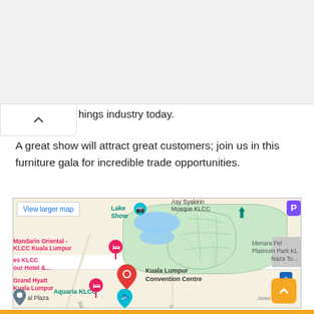hings industry today.
A great show will attract great customers; join us in this furniture gala for incredible trade opportunities.
[Figure (map): Google Maps screenshot showing the area around Kuala Lumpur Convention Centre (KLCC), with labels for Mandarin Oriental KLCC Kuala Lumpur, Grand Hyatt Kuala Lumpur, Aquaria KLCC, Menara Fel Platinum Park KL, Naza Tower, Asy Syakirin Mosque KLCC, Lake Show, and surrounding roads including Jalan Perak and Jalan Kia Peng. A red map pin marks the Kuala Lumpur Convention Centre.]